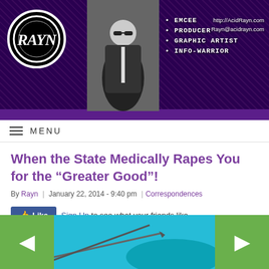[Figure (illustration): Website header banner for AcidRayn.com featuring a dark purple textured background, a circular logo with 'RAYN' text on the left, a person in black clothing (silhouette/photo) in the center, bullet points listing EMCEE, PRODUCER, GRAPHIC ARTIST, INFO-WARRIOR, and website URL http://AcidRayn.com and email Rayn@acidrayn.com on the right. A solid purple bar runs along the bottom of the banner.]
MENU
When the State Medically Rapes You for the “Greater Good”!
By Rayn | January 22, 2014 - 9:40 pm |Correspondences
[Figure (screenshot): Facebook Like button widget showing a blue Like button with thumbs up icon, followed by text 'Sign Up to see what your friends like.']
The following correspondence originally took place upon the Facebook wall of my friend, Jordan K...
[Figure (photo): Bottom navigation area with green left arrow button on the left, green right arrow button on the right, and a partial image in the center showing what appears to be a medical syringe/needle against a teal/blue background.]